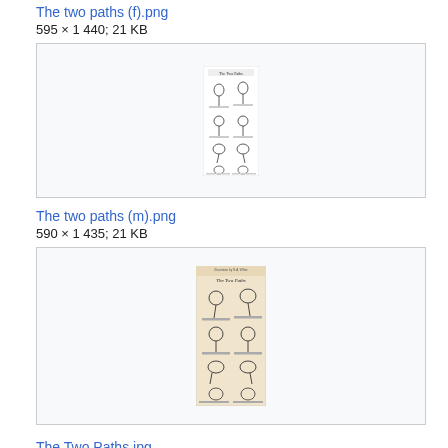The two paths (f).png
595 × 1 440; 21 KB
[Figure (illustration): Thumbnail of 'The two paths (f).png' — a sheet showing illustrated characters arranged in a grid with title 'The Two Paths' at top, black-and-white line art on white background]
The two paths (m).png
590 × 1 435; 21 KB
[Figure (illustration): Thumbnail of 'The two paths (m).png' — a sheet showing illustrated characters arranged in a grid with title 'The Two Paths' at top, black-and-white on aged/cream background]
The Two Paths.jpg